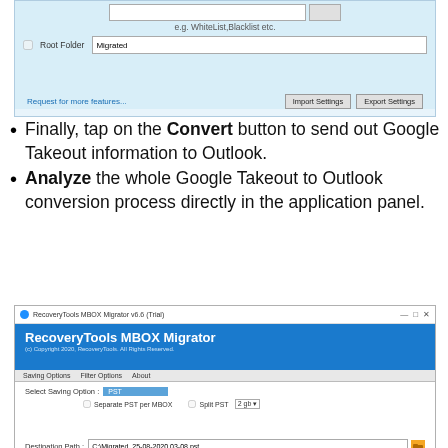[Figure (screenshot): Top portion of a software settings dialog with a text field showing 'e.g. WhiteList,Blacklist etc.', a Root Folder checkbox with 'Migrated' input, and Import Settings / Export Settings buttons on a light blue background.]
Finally, tap on the Convert button to send out Google Takeout information to Outlook.
Analyze the whole Google Takeout to Outlook conversion process directly in the application panel.
[Figure (screenshot): RecoveryTools MBOX Migrator v6.6 (Trial) application window showing saving options with PST selected, Separate PST per MBOX and Split PST checkboxes, and Destination Path field showing C:\Migrated_25-08-2020 03-08.pst]